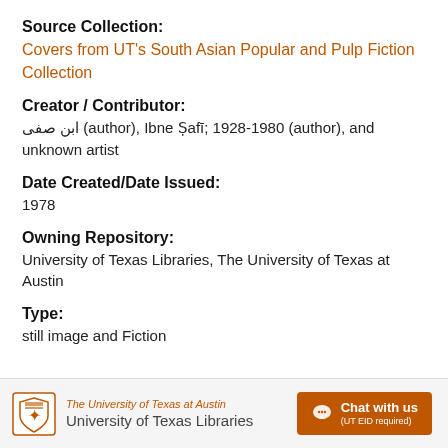Source Collection:
Covers from UT's South Asian Popular and Pulp Fiction Collection
Creator / Contributor:
ابن صفی (author), Ibne Ṣafī; 1928-1980 (author), and unknown artist
Date Created/Date Issued:
1978
Owning Repository:
University of Texas Libraries, The University of Texas at Austin
Type:
still image and Fiction
The University of Texas at Austin University of Texas Libraries | Chat with us (UT EID required)